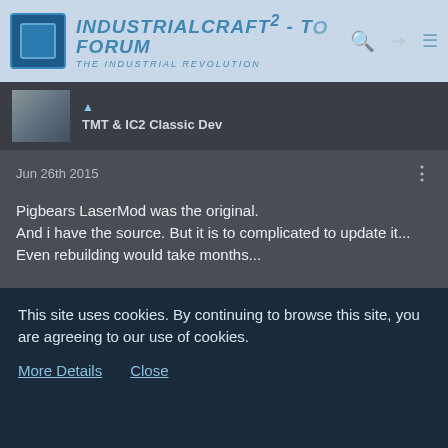IndustrialCraft² - The Forum - The Industrial Revolution
TMT & IC2 Classic Dev
Jun 26th 2015
Pigbears LaserMod was the original. And i have the source. But it is to complicated to update it... Even rebuilding would take months...
Chocohead
Drowning in mods.
Jun 26th 2015
This site uses cookies. By continuing to browse this site, you are agreeing to our use of cookies.
More Details
Close